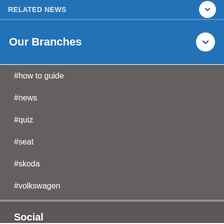RELATED NEWS
Our Branches
#how to guide
#news
#quiz
#seat
#skoda
#volkswagen
Social